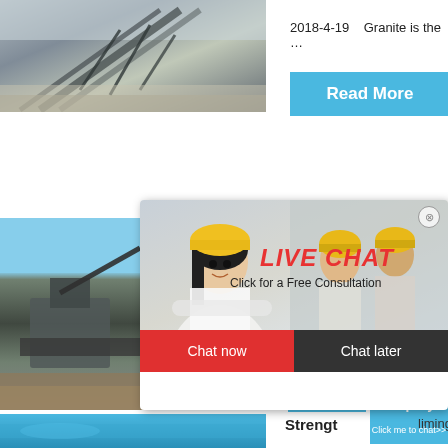[Figure (photo): Mining/quarry conveyor belt and machinery, industrial site, top-left]
2018-4-19    Granite is the …
Read More
[Figure (photo): Mining machinery and equipment at quarry site, mid-left]
[Figure (photo): LIVE CHAT overlay popup with workers wearing yellow hard hats; title: LIVE CHAT; subtitle: Click for a Free Consultation; buttons: Chat now, Chat later]
hour online
of
[Figure (photo): Crusher machine equipment photo, right side]
Read
Click me to chat>>
Enquiry
[Figure (photo): Blue-toned industrial/quarry photo strip, bottom left]
Strengt
limingjlmofen